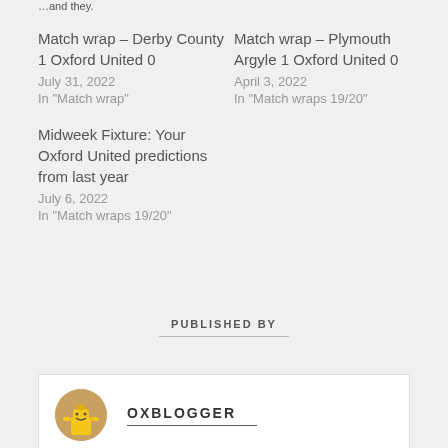…and they.
Match wrap – Derby County 1 Oxford United 0
July 31, 2022
In "Match wrap"
Match wrap – Plymouth Argyle 1 Oxford United 0
April 3, 2022
In "Match wraps 19/20"
Midweek Fixture: Your Oxford United predictions from last year
July 6, 2022
In "Match wraps 19/20"
PUBLISHED BY
OXBLOGGER